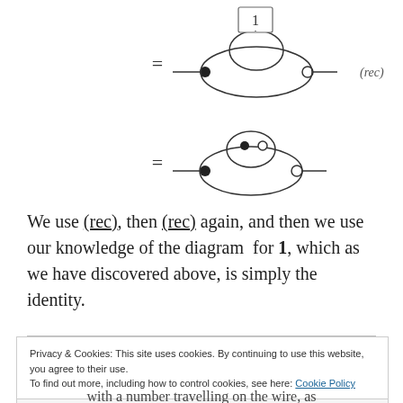[Figure (engineering-diagram): Two string diagram equations. Top: equals sign followed by a diagram with a filled circle (dot), a box labeled '1', and an open circle connected by curved wires, with label '(rec)' to the right. Bottom: equals sign followed by a similar diagram without the '1' box, showing filled and open circles connected by curved wires.]
We use (rec), then (rec) again, and then we use our knowledge of the diagram for 1, which as we have discovered above, is simply the identity.
Privacy & Cookies: This site uses cookies. By continuing to use this website, you agree to their use.
To find out more, including how to control cookies, see here: Cookie Policy
Close and accept
with a number travelling on the wire, as